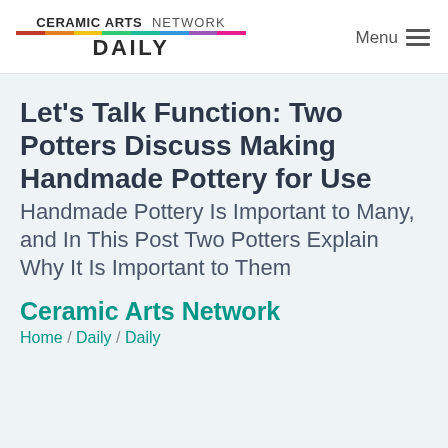CERAMIC ARTS NETWORK DAILY | Menu
Let's Talk Function: Two Potters Discuss Making Handmade Pottery for Use
Handmade Pottery Is Important to Many, and In This Post Two Potters Explain Why It Is Important to Them
Ceramic Arts Network
Home / Daily / Daily